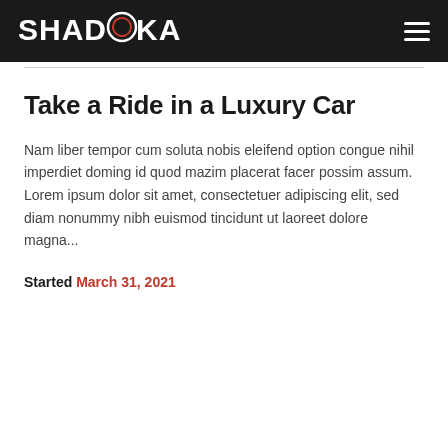SHADOKA
Take a Ride in a Luxury Car
Nam liber tempor cum soluta nobis eleifend option congue nihil imperdiet doming id quod mazim placerat facer possim assum. Lorem ipsum dolor sit amet, consectetuer adipiscing elit, sed diam nonummy nibh euismod tincidunt ut laoreet dolore magna...
Started March 31, 2021